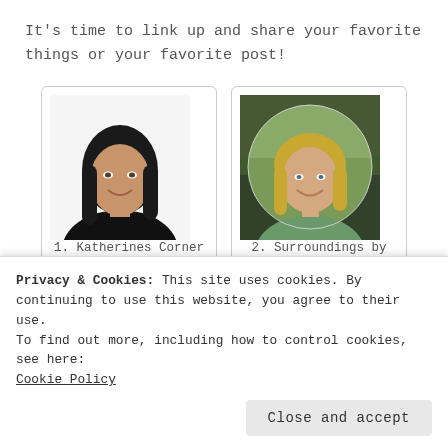It's time to link up and share your favorite things or your favorite post!
[Figure (photo): Portrait photo of a woman with long dark hair wearing a black top, smiling, against white background]
1. Katherines Corner - Hostess
[Figure (photo): Circular portrait photo of a blonde woman wearing a green top, smiling, with nature/trees background]
2. Surroundings by Debi - co hostess
[Figure (photo): Partial photo showing green outdoor/nature scene]
[Figure (photo): Partial photo showing a person with red/auburn hair]
Privacy & Cookies: This site uses cookies. By continuing to use this website, you agree to their use.
To find out more, including how to control cookies, see here:
Cookie Policy
Close and accept
Blossoms co hostess
hostess